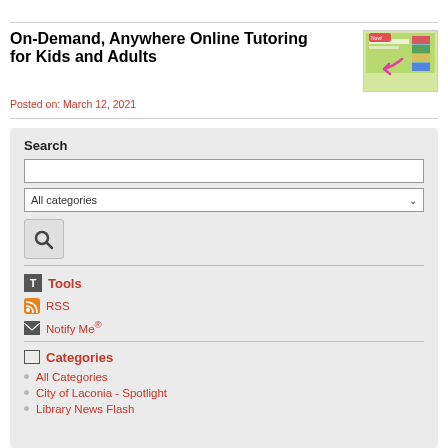On-Demand, Anywhere Online Tutoring for Kids and Adults
Posted on: March 12, 2021
[Figure (screenshot): Thumbnail screenshot of tutoring website with arrow and colorful interface]
Search
[Figure (other): Search box UI with text input, All categories dropdown, and search button]
Tools
RSS
Notify Me®
Categories
All Categories
City of Laconia - Spotlight
Library News Flash